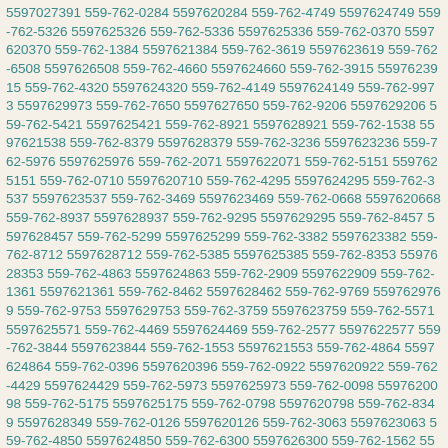5597027391 559-762-0284 5597620284 559-762-4749 5597624749 559-762-5326 5597625326 559-762-5336 5597625336 559-762-0370 5597620370 559-762-1384 5597621384 559-762-3619 5597623619 559-762-6508 5597626508 559-762-4660 5597624660 559-762-3915 5597623915 559-762-4320 5597624320 559-762-4149 5597624149 559-762-9973 5597629973 559-762-7650 5597627650 559-762-9206 5597629206 559-762-5421 5597625421 559-762-8921 5597628921 559-762-1538 5597621538 559-762-8379 5597628379 559-762-3236 5597623236 559-762-5976 5597625976 559-762-2071 5597622071 559-762-5151 5597625151 559-762-0710 5597620710 559-762-4295 5597624295 559-762-3537 5597623537 559-762-3469 5597623469 559-762-0668 5597620668 559-762-8937 5597628937 559-762-9295 5597629295 559-762-8457 5597628457 559-762-5299 5597625299 559-762-3382 5597623382 559-762-8712 5597628712 559-762-5385 5597625385 559-762-8353 5597628353 559-762-4863 5597624863 559-762-2909 5597622909 559-762-1361 5597621361 559-762-8462 5597628462 559-762-9769 5597629769 559-762-9753 5597629753 559-762-3759 5597623759 559-762-5571 5597625571 559-762-4469 5597624469 559-762-2577 5597622577 559-762-3844 5597623844 559-762-1553 5597621553 559-762-4864 5597624864 559-762-0396 5597620396 559-762-0922 5597620922 559-762-4429 5597624429 559-762-5973 5597625973 559-762-0098 5597620098 559-762-5175 5597625175 559-762-0798 5597620798 559-762-8349 5597628349 559-762-0126 5597620126 559-762-3063 5597623063 559-762-4850 5597624850 559-762-6300 5597626300 559-762-1562 5597621562 559-762-8537 5597628537 559-762-9149 5597629149 559-762-4708 5597624708 559-762-9714 5597629714 559-762-7996 5597627996 559-